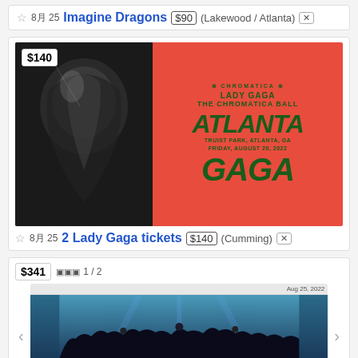☆ 8月25 Imagine Dragons $90 (Lakewood / Atlanta) ✕
[Figure (photo): Lady Gaga The Chromatica Ball Atlanta concert poster on red background with black and white photo of Lady Gaga on left]
☆ 8月25 2 Lady Gaga tickets $140 (Cumming) ✕
[Figure (screenshot): Ticket stub for LANY: Summer Forever Tour at Cadence Bank Amphitheatre at Chastain Park, Aug 25, 2022. Image 1/2 shown with concert crowd photo. Section: PIT, Row: R, Seat shown.]
$341 □□□ 1 / 2